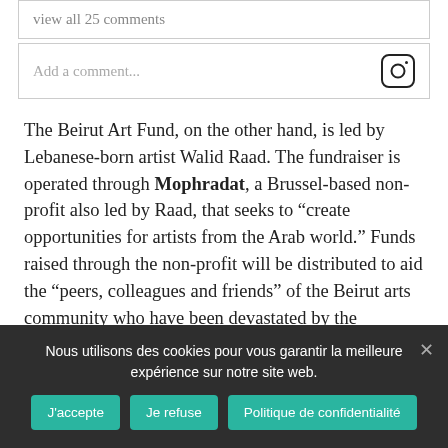view all 25 comments
Add a comment...
The Beirut Art Fund, on the other hand, is led by Lebanese-born artist Walid Raad. The fundraiser is operated through Mophradat, a Brussel-based non-profit also led by Raad, that seeks to “create opportunities for artists from the Arab world.” Funds raised through the non-profit will be distributed to aid the “peers, colleagues and friends” of the Beirut arts community who have been devastated by the explosions. “We [the Beirut Art Fund] will direct 100% of the funds to arts individuals and institutions while
Nous utilisons des cookies pour vous garantir la meilleure expérience sur notre site web.
J'accepte
Je refuse
Politique de confidentialité